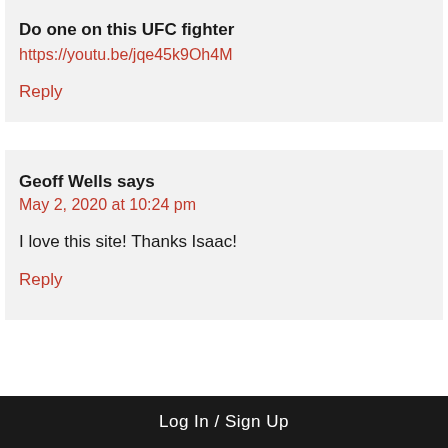Do one on this UFC fighter
https://youtu.be/jqe45k9Oh4M
Reply
Geoff Wells says
May 2, 2020 at 10:24 pm
I love this site! Thanks Isaac!
Reply
Log In / Sign Up